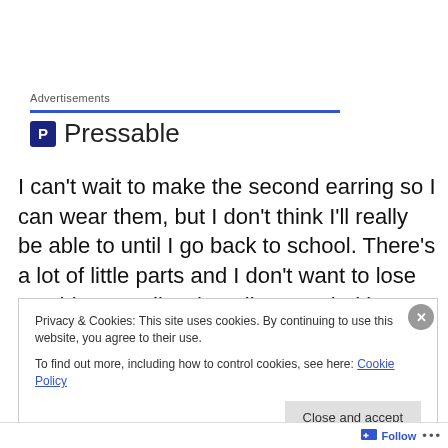Advertisements
[Figure (logo): Pressable logo with navy blue P icon and 'Pressable' text]
I can't wait to make the second earring so I can wear them, but I don't think I'll really be able to until I go back to school. There's a lot of little parts and I don't want to lose anything, so I'll wait until I'm settled in my apartment at school and have a work space that belongs to me.
Privacy & Cookies: This site uses cookies. By continuing to use this website, you agree to their use.
To find out more, including how to control cookies, see here: Cookie Policy
Follow ...